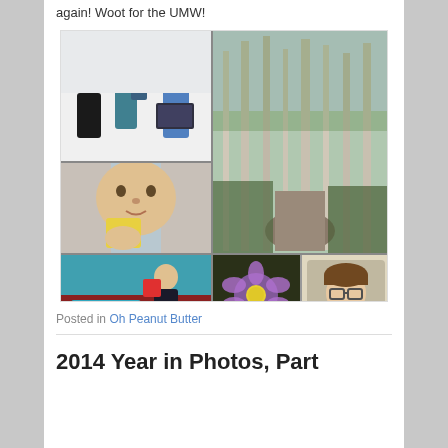again! Woot for the UMW!
[Figure (photo): Photo collage with 6 images: indoor group photo of people at a podium, forest path with tall birch trees, close-up of toddler holding yellow block, toddler playing with colorful blocks and toys, small purple flower macro, and woman portrait selfie]
Posted in Oh Peanut Butter
2014 Year in Photos, Part